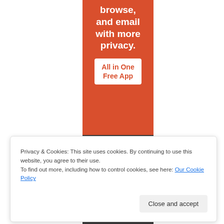[Figure (illustration): Mobile app advertisement banner on orange/red background with text 'browse, and email with more privacy.' and a white button 'All in One Free App', with phone bottom portion shown in dark gray]
Privacy & Cookies: This site uses cookies. By continuing to use this website, you agree to their use.
To find out more, including how to control cookies, see here: Our Cookie Policy
Close and accept